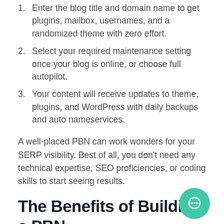Enter the blog title and domain name to get plugins, mailbox, usernames, and a randomized theme with zero effort.
Select your required maintenance setting once your blog is online, or choose full autopilot.
Your content will receive updates to theme, plugins, and WordPress with daily backups and auto nameservices.
A well-placed PBN can work wonders for your SERP visibility. Best of all, you don't need any technical expertise, SEO proficiencies, or coding skills to start seeing results.
The Benefits of Building a PBN
A PBN is often a key component of an SEO strategy in